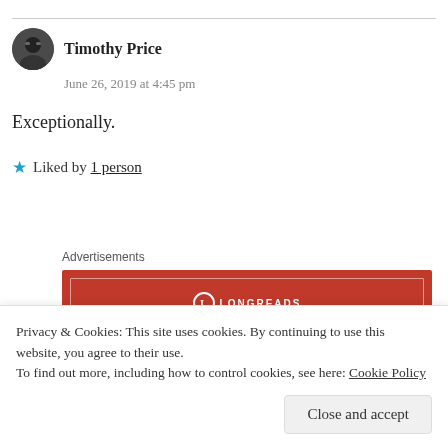Timothy Price
June 26, 2019 at 4:45 pm
Exceptionally.
★ Liked by 1 person
Advertisements
[Figure (other): Longreads advertisement banner: red background with white border, Longreads logo and text 'The best stories on the web – ours, and everyone else's.']
REPORT THIS AD
Privacy & Cookies: This site uses cookies. By continuing to use this website, you agree to their use.
To find out more, including how to control cookies, see here: Cookie Policy
Close and accept